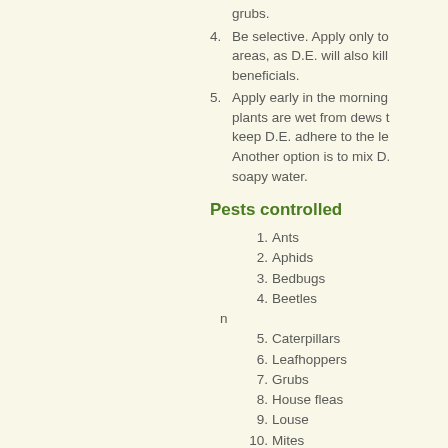grubs.
4. Be selective. Apply only to areas, as D.E. will also kill beneficials.
5. Apply early in the morning plants are wet from dews t keep D.E. adhere to the le Another option is to mix D. soapy water.
Pests controlled
1. Ants
2. Aphids
3. Bedbugs
4. Beetles
n
5. Caterpillars
6. Leafhoppers
7. Grubs
8. House fleas
9. Louse
10. Mites
11. Root maggots/ root flies
12. Thrips
13. Slugs and snails